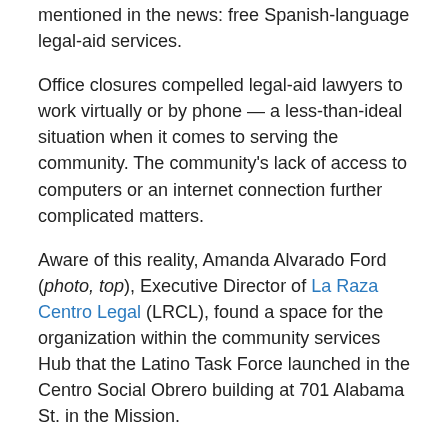mentioned in the news: free Spanish-language legal-aid services.
Office closures compelled legal-aid lawyers to work virtually or by phone — a less-than-ideal situation when it comes to serving the community. The community's lack of access to computers or an internet connection further complicated matters.
Aware of this reality, Amanda Alvarado Ford (photo, top), Executive Director of La Raza Centro Legal (LRCL), found a space for the organization within the community services Hub that the Latino Task Force launched in the Centro Social Obrero building at 701 Alabama St. in the Mission.
Since 1973, LRCL has operated in San Francisco, always with a mission of empowering Latino, immigrant and low-income communities so they can advocate for their civil and human rights. LRCL attorneys focus on affirmative immigration law (e.g., Green Card applications and DACA renewals), asylum and deportation defense, elder rights and workers' rights.
"It learned the director [of the Hub] needed a legal consultant...